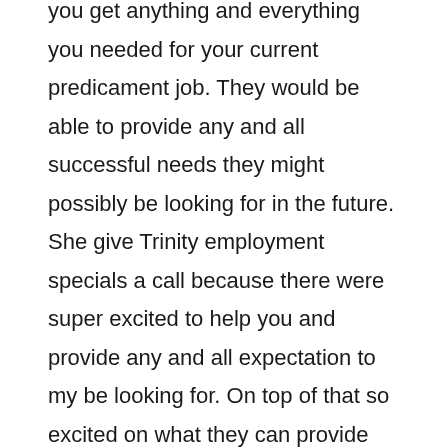you get anything and everything you needed for your current predicament job. They would be able to provide any and all successful needs they might possibly be looking for in the future. She give Trinity employment specials a call because there were super excited to help you and provide any and all expectation to my be looking for. On top of that so excited on what they can provide for you and how helpful they can be for any and all future endeavors.
Something special about Trinity employment specialist is that they really care about making sure all nurse practitioners are able to get the job they're looking for. They want to make sure that all the hard